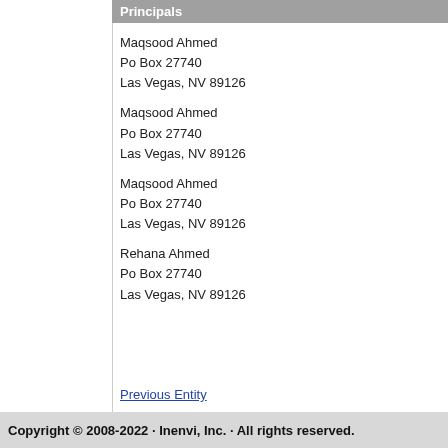Principals
Maqsood Ahmed
Po Box 27740
Las Vegas, NV 89126
Maqsood Ahmed
Po Box 27740
Las Vegas, NV 89126
Maqsood Ahmed
Po Box 27740
Las Vegas, NV 89126
Rehana Ahmed
Po Box 27740
Las Vegas, NV 89126
Previous Entity
Copyright © 2008-2022 · Inenvi, Inc. · All rights reserved.